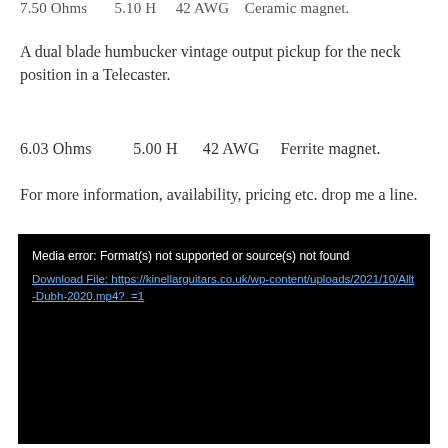7.50 Ohms    5.10 H    42 AWG    Ceramic magnet.
A dual blade humbucker vintage output pickup for the neck position in a Telecaster.
6.03 Ohms    5.00 H    42 AWG    Ferrite magnet.
For more information, availability, pricing etc. drop me a line.
[Figure (screenshot): Black video player box showing media error: Format(s) not supported or source(s) not found, with a download link to https://kinellarguitars.co.uk/wp-content/uploads/2021/10/Allt-Dubh-2020.mp4?_=1]